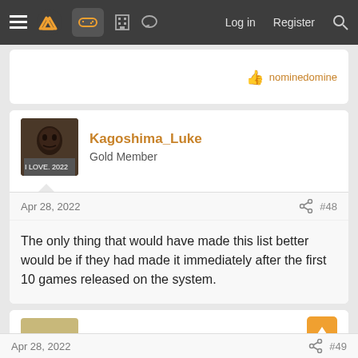Navigation bar with menu, logo, gamepad icon, building icon, chat icon, Log in, Register, Search
nominedomine
Kagoshima_Luke
Gold Member
Apr 28, 2022  #48
The only thing that would have made this list better would be if they had made it immediately after the first 10 games released on the system.
SpokkX
Member
Apr 28, 2022  #49